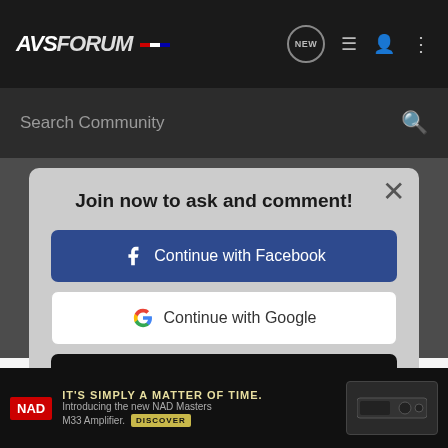AVS FORUM
Search Community
Join now to ask and comment!
Continue with Facebook
Continue with Google
Continue with Apple
or sign up with email
S L a a
I did just 2 runs of this, took me 8 mins with this workflow. Here's t m color space) p
[Figure (screenshot): NAD advertisement banner: IT'S SIMPLY A MATTER OF TIME. Introducing the new NAD Masters M33 Amplifier. DISCOVER]